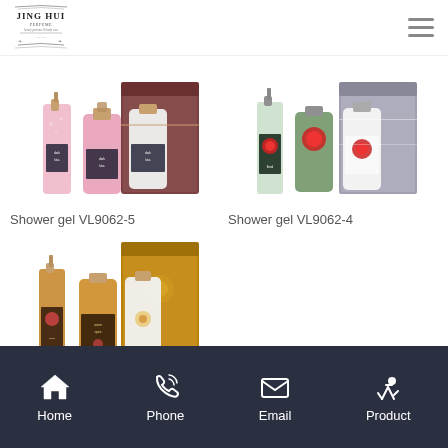JING HUI Perfume
[Figure (photo): Shower gel set VL9062-5: pink bottles and box]
Shower gel VL9062-5
[Figure (photo): Shower gel set VL9062-4: green/white bottles with red floral design and metallic box]
Shower gel VL9062-4
[Figure (photo): Shower gel set: amber/gold bottles with floral design and gold box (partially visible)]
Home | Phone | Email | Product